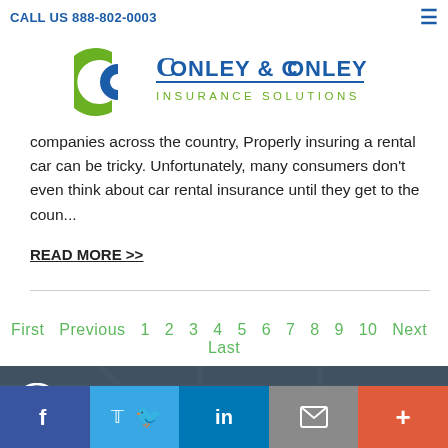CALL US 888-802-0003
[Figure (logo): Conley & Conley Insurance Solutions logo with green and blue C icon]
companies across the country, Properly insuring a rental car can be tricky. Unfortunately, many consumers don't even think about car rental insurance until they get to the coun...
READ MORE >>
First  Previous  1  2  3  4  5  6  7  8  9  10  Next  Last
[Figure (map): Background map showing local street area]
CONTACT US TODAY!
Facebook  Twitter  LinkedIn  Email  More